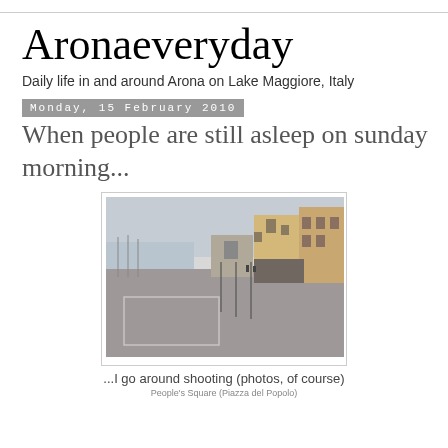Aronaeveryday
Daily life in and around Arona on Lake Maggiore, Italy
Monday, 15 February 2010
When people are still asleep on sunday morning...
[Figure (photo): Empty Piazza del Popolo (People's Square) in Arona on a quiet Sunday morning, showing cobblestone square, historic buildings, and a view toward Lake Maggiore]
...I go around shooting (photos, of course)
People's Square (Piazza del Popolo)